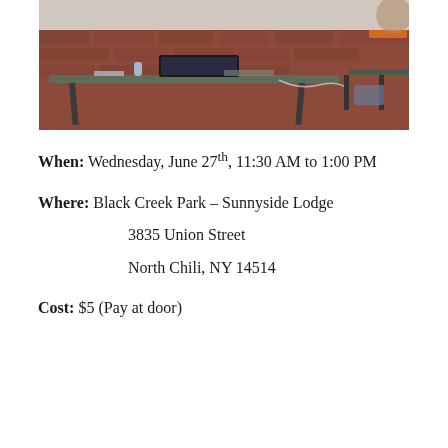[Figure (photo): Outdoor or semi-outdoor setting showing a folding table with a laptop, water bottle, and cables. Brick wall visible in background. Black chairs visible on the right.]
When:  Wednesday, June 27th, 11:30 AM to 1:00 PM
Where: Black Creek Park – Sunnyside Lodge
3835 Union Street
North Chili, NY 14514
Cost:    $5 (Pay at door)